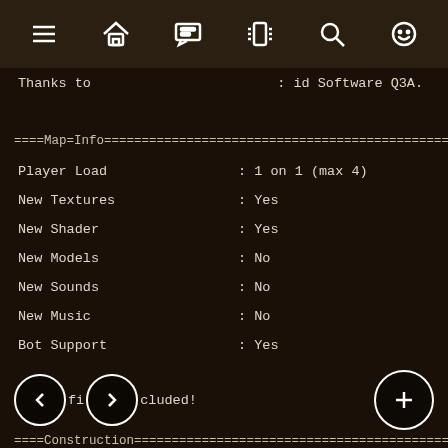[navigation icons: menu, home, chat, vibrate, search, emoji]
Thanks to                       : id Software Q3A.
====Map=Info====================================================
| Property | Value |
| --- | --- |
| Player Load | : 1 on 1 (max 4) |
| New Textures | : Yes |
| New Shader | : Yes |
| New Models | : No |
| New Sounds | : No |
| New Music | : No |
| Bot Support | : Yes |
< fi > cluded!
====Construction================================================